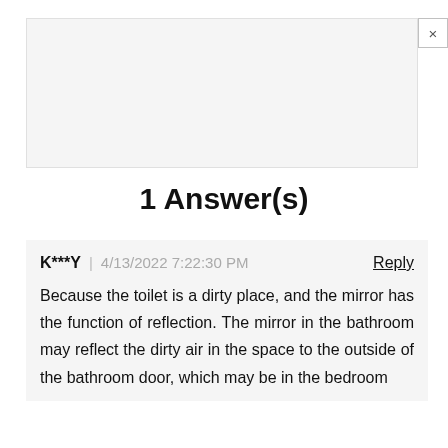[Figure (other): Advertisement placeholder box with a close (×) button in the top right corner]
1 Answer(s)
K***Y  |  4/13/2022 7:22:30 PM   Reply
Because the toilet is a dirty place, and the mirror has the function of reflection. The mirror in the bathroom may reflect the dirty air in the space to the outside of the bathroom door, which may be in the bedroom